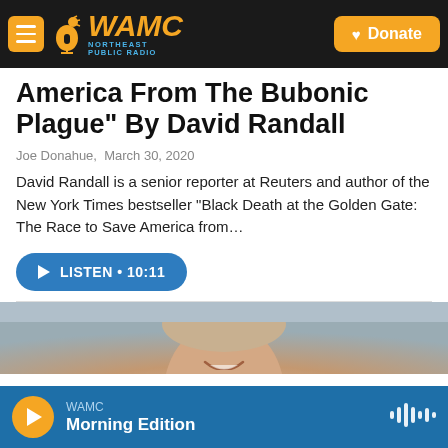WAMC Northeast Public Radio | Donate
America From The Bubonic Plague" By David Randall
Joe Donahue,  March 30, 2020
David Randall is a senior reporter at Reuters and author of the New York Times bestseller "Black Death at the Golden Gate: The Race to Save America from…
[Figure (screenshot): Blue LISTEN button with play icon showing '10:11' duration]
[Figure (photo): Partial photo of a smiling man, appears to be a headshot or profile photo]
WAMC Morning Edition